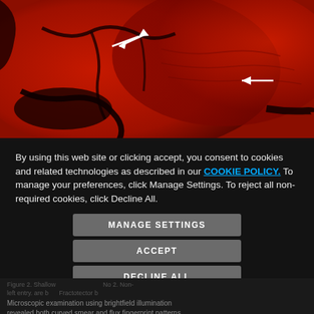[Figure (photo): Fluorescence microscopy image with red background showing tissue/surface features with two white arrows pointing to areas of interest. Dark irregular marks visible against the red-lit surface.]
By using this web site or clicking accept, you consent to cookies and related technologies as described in our COOKIE POLICY. To manage your preferences, click Manage Settings. To reject all non-required cookies, click Decline All.
MANAGE SETTINGS
ACCEPT
DECLINE ALL
Figure 2. Shallow... ...No 2. Non-left entry. are b... Fractotector b...
Microscopic examination using brightfield illumination revealed both curved smear and flux fingerprint patterns